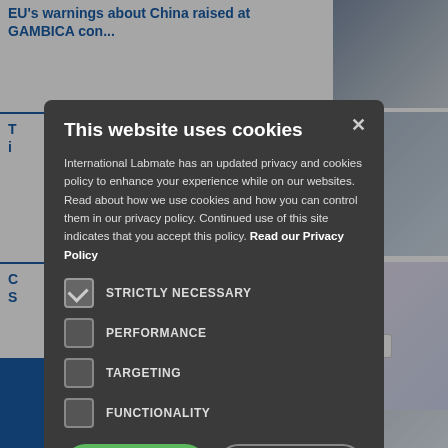EU's warnings about China raised at GAMBICA con...
[Figure (photo): Conference audience photo]
[Figure (photo): Laboratory glassware with blue liquid]
[Figure (infographic): Scientific diagram with circular elements]
[Figure (photo): Scientist or analyst in lab coat]
This website uses cookies

International Labmate has an updated privacy and cookies policy to enhance your experience while on our websites. Read about how we use cookies and how you can control them in our privacy policy. Continued use of this site indicates that you accept this policy. Read our Privacy Policy
STRICTLY NECESSARY (checked)
PERFORMANCE
TARGETING
FUNCTIONALITY
I AGREE | DECLINE ALL
SHOW DETAILS